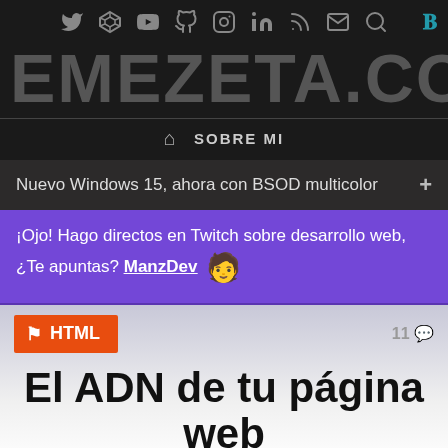emezeta.com social icons and navigation header
EMEZETA.COM
🏠 SOBRE MI
Nuevo Windows 15, ahora con BSOD multicolor +
¡Ojo! Hago directos en Twitch sobre desarrollo web, ¿Te apuntas? ManzDev 🧑
HTML  11 💬
El ADN de tu página web